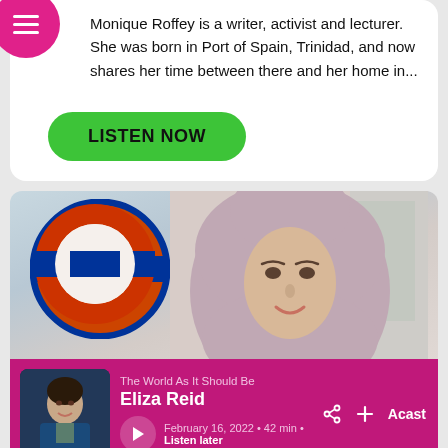Monique Roffey is a writer, activist and lecturer. She was born in Port of Spain, Trinidad, and now shares her time between there and her home in...
LISTEN NOW
[Figure (photo): Photo of a young woman wearing a pink/mauve hijab, smiling, with a London Underground roundel sign visible in the background]
[Figure (screenshot): Podcast player card for 'The World As It Should Be' showing episode 'Eliza Reid', dated February 16, 2022, 42 min, with Listen later option, on Acast platform. Thumbnail shows a woman in a blue blazer.]